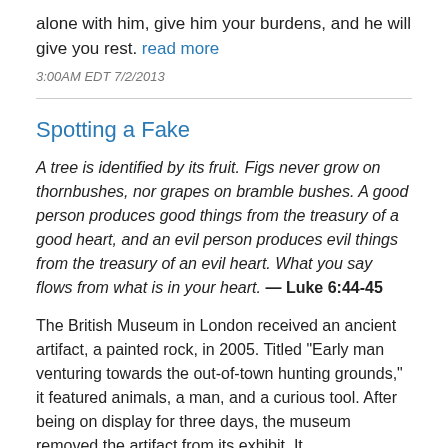alone with him, give him your burdens, and he will give you rest. read more
3:00AM EDT 7/2/2013
Spotting a Fake
A tree is identified by its fruit. Figs never grow on thornbushes, nor grapes on bramble bushes. A good person produces good things from the treasury of a good heart, and an evil person produces evil things from the treasury of an evil heart. What you say flows from what is in your heart. — Luke 6:44-45
The British Museum in London received an ancient artifact, a painted rock, in 2005. Titled "Early man venturing towards the out-of-town hunting grounds," it featured animals, a man, and a curious tool. After being on display for three days, the museum removed the artifact from its exhibit. It